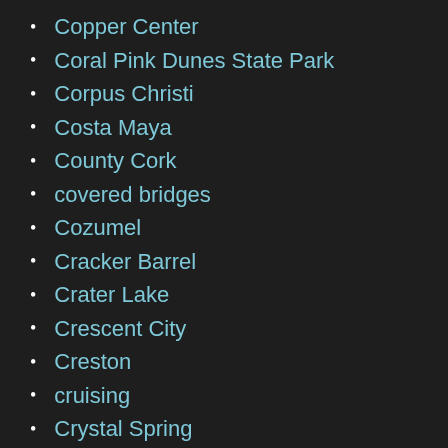Copper Center
Coral Pink Dunes State Park
Corpus Christi
Costa Maya
County Cork
covered bridges
Cozumel
Cracker Barrel
Crater Lake
Crescent City
Creston
cruising
Crystal Spring
Custer State Park
Czech Republic
Dawson City